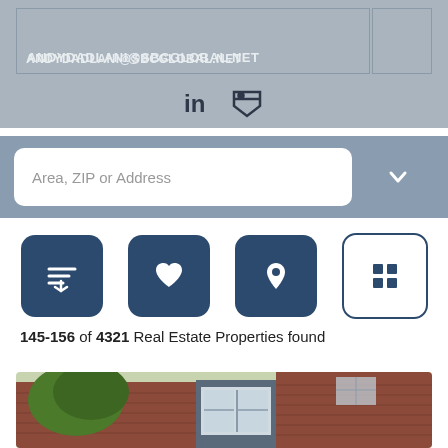ANDYDADLANI@SBCGLOBAL.NET
[Figure (screenshot): Social media icons: LinkedIn (in) and a bookmark/tag icon]
[Figure (screenshot): Search bar with placeholder 'Area, ZIP or Address' and a dropdown chevron button]
[Figure (screenshot): Four icon buttons: sort/filter, favorites (heart), map pin, and grid view]
145-156 of 4321 Real Estate Properties found
[Figure (photo): Exterior photo of a brick residential building with bay window and trees]